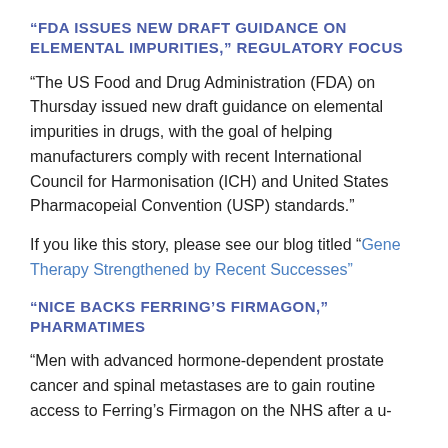“FDA ISSUES NEW DRAFT GUIDANCE ON ELEMENTAL IMPURITIES,” REGULATORY FOCUS
“The US Food and Drug Administration (FDA) on Thursday issued new draft guidance on elemental impurities in drugs, with the goal of helping manufacturers comply with recent International Council for Harmonisation (ICH) and United States Pharmacopeial Convention (USP) standards.”
If you like this story, please see our blog titled “Gene Therapy Strengthened by Recent Successes”
“NICE BACKS FERRING’S FIRMAGON,” PHARMATIMES
“Men with advanced hormone-dependent prostate cancer and spinal metastases are to gain routine access to Ferring’s Firmagon on the NHS after a u-